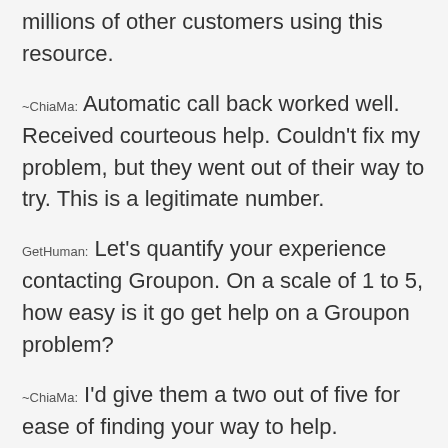millions of other customers using this resource.
~ChiaMa: Automatic call back worked well. Received courteous help. Couldn't fix my problem, but they went out of their way to try. This is a legitimate number.
GetHuman: Let's quantify your experience contacting Groupon. On a scale of 1 to 5, how easy is it go get help on a Groupon problem?
~ChiaMa: I'd give them a two out of five for ease of finding your way to help.
GetHuman: What about quality of communication. How would you rate that on a 1 to 5 scale?
~ChiaMa: I'd give them a three out of five on communication.
GetHuman: And what about Groupon's ability to quickly and effectively address your problem?